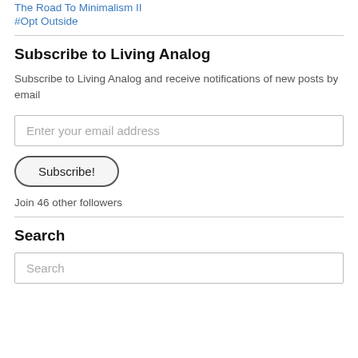The Road To Minimalism II
#Opt Outside
Subscribe to Living Analog
Subscribe to Living Analog and receive notifications of new posts by email
Enter your email address
Subscribe!
Join 46 other followers
Search
Search